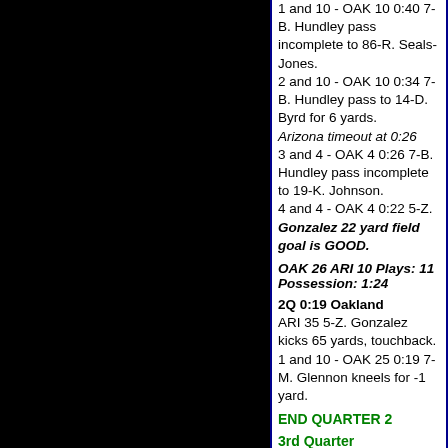1 and 10 - OAK 10 0:40 7-B. Hundley pass incomplete to 86-R. Seals-Jones.
2 and 10 - OAK 10 0:34 7-B. Hundley pass to 14-D. Byrd for 6 yards.
Arizona timeout at 0:26
3 and 4 - OAK 4 0:26 7-B. Hundley pass incomplete to 19-K. Johnson.
4 and 4 - OAK 4 0:22 5-Z. Gonzalez 22 yard field goal is GOOD.
OAK 26 ARI 10 Plays: 11 Possession: 1:24
2Q 0:19 Oakland
ARI 35 5-Z. Gonzalez kicks 65 yards, touchback.
1 and 10 - OAK 25 0:19 7-M. Glennon kneels for -1 yard.
END QUARTER 2
3rd Quarter
3Q 15:00 Arizona
OAK 35 6-A. Cole III kicks 64 yards, 89-A. Isabella returns for 25 yards.
1 and 10 - ARI 26 14:55 22-T. Logan rush for 9 yards, forced out of bounds.
2 and 1 - ARI 35 14:18 22-T. Logan rush for 3 yards.
1 and 10 - ARI 38 13:45 7-B. Hundley pass to 19-K. Johnson for 9 yards.
2 and 1 - ARI 47 13:14 7-B. Hundley rush for 12